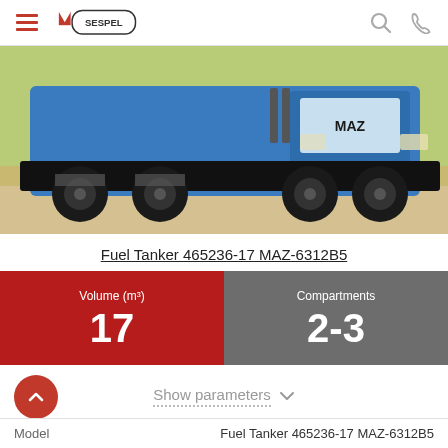SESPEL navigation bar with hamburger menu, logo, search and phone icons
[Figure (photo): Front view of a blue MAZ truck (fuel tanker chassis) on a dirt road with green grass background]
Fuel Tanker 465236-17 MAZ-6312B5
| Volume (m³) | Compartments |
| --- | --- |
| 17 | 2-3 |
Show parameters
| Model |
| --- |
| Fuel Tanker 465236-17 MAZ-6312B5 |